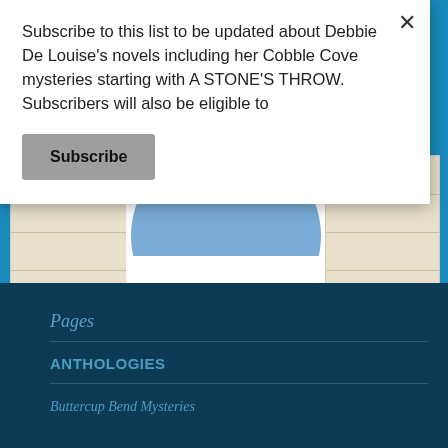Subscribe to this list to be updated about Debbie De Louise's novels including her Cobble Cove mysteries starting with A STONE'S THROW. Subscribers will also be eligible to
[Figure (screenshot): Subscribe button (grey rounded rectangle with bold 'Subscribe' text)]
[Figure (illustration): Background page showing a book/form with horizontal ruled lines on a beige background, blue semicircle avatar placeholder in center, above a dark navy blue footer section with cyan-colored navigation links]
Pages
ANTHOLOGIES
Buttercup Bend Mysteries